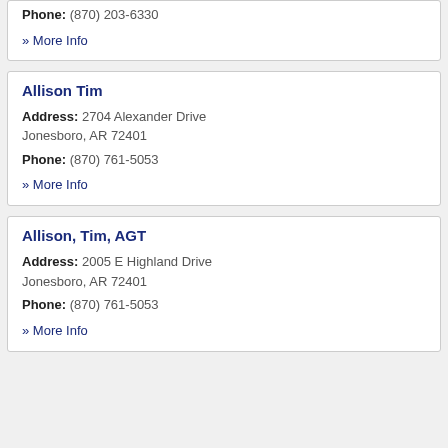Phone: (870) 203-6330
» More Info
Allison Tim
Address: 2704 Alexander Drive Jonesboro, AR 72401
Phone: (870) 761-5053
» More Info
Allison, Tim, AGT
Address: 2005 E Highland Drive Jonesboro, AR 72401
Phone: (870) 761-5053
» More Info